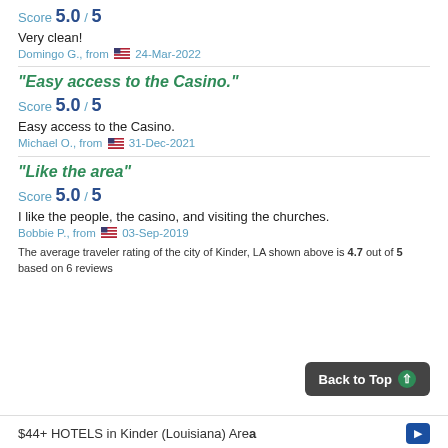Score 5.0 / 5
Very clean!
Domingo G., from 🇺🇸 24-Mar-2022
"Easy access to the Casino."
Score 5.0 / 5
Easy access to the Casino.
Michael O., from 🇺🇸 31-Dec-2021
"Like the area"
Score 5.0 / 5
I like the people, the casino, and visiting the churches.
Bobbie P., from 🇺🇸 03-Sep-2019
The average traveler rating of the city of Kinder, LA shown above is 4.7 out of 5 based on 6 reviews
$44+ HOTELS in Kinder (Louisiana) Area